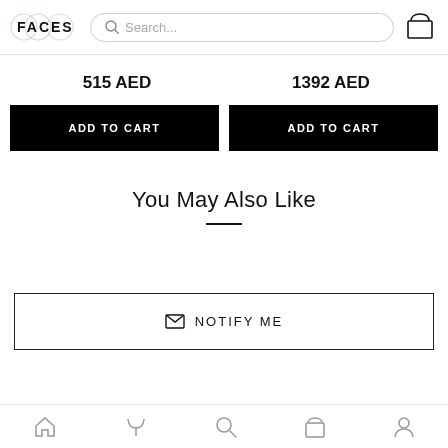FACES — Search bar and cart icon
515 AED
1392 AED
ADD TO CART
ADD TO CART
You May Also Like
NOTIFY ME